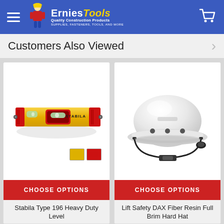Ernies Tools - Quality Construction Products - Supplies, Fasteners, Tools, and More
Customers Also Viewed
[Figure (photo): Stabila Type 196 Heavy Duty level - yellow and red spirit level with two color swatches]
CHOOSE OPTIONS
Stabila Type 196 Heavy Duty Level
[Figure (photo): Lift Safety DAX Fiber Resin Full Brim Hard Hat - white hard hat with brim and black chin strap]
CHOOSE OPTIONS
Lift Safety DAX Fiber Resin Full Brim Hard Hat